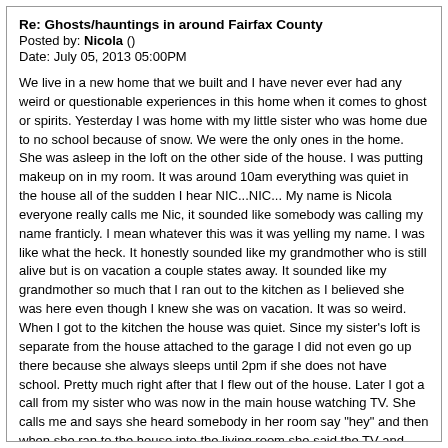Re: Ghosts/hauntings in around Fairfax County
Posted by: Nicola ()
Date: July 05, 2013 05:00PM
We live in a new home that we built and I have never ever had any weird or questionable experiences in this home when it comes to ghost or spirits. Yesterday I was home with my little sister who was home due to no school because of snow. We were the only ones in the home. She was asleep in the loft on the other side of the house. I was putting makeup on in my room. It was around 10am everything was quiet in the house all of the sudden I hear NIC...NIC... My name is Nicola everyone really calls me Nic, it sounded like somebody was calling my name franticly. I mean whatever this was it was yelling my name. I was like what the heck. It honestly sounded like my grandmother who is still alive but is on vacation a couple states away. It sounded like my grandmother so much that I ran out to the kitchen as I believed she was here even though I knew she was on vacation. It was so weird. When I got to the kitchen the house was quiet. Since my sister's loft is separate from the house attached to the garage I did not even go up there because she always sleeps until 2pm if she does not have school. Pretty much right after that I flew out of the house. Later I got a call from my sister who was now in the main house watching TV. She calls me and says she heard somebody in her room say "hey" and then when she ran to the house into the living room she said the TV and direct TV box turned off by its self. I did not want to scare her so I did not share my experience with her.
It gets a little weirder I then called my mom to tell her what I experienced and what happened to my sister but before I could tell her because I know she is a skeptical about everything she says you want to hear something weird I heard somebody say Nicola twice in my post office. Ok my mom works in a post office in a very rural area I mean this place is in the middle of nowhere and has nothing around it except for farm land. She is lucky if she gets two